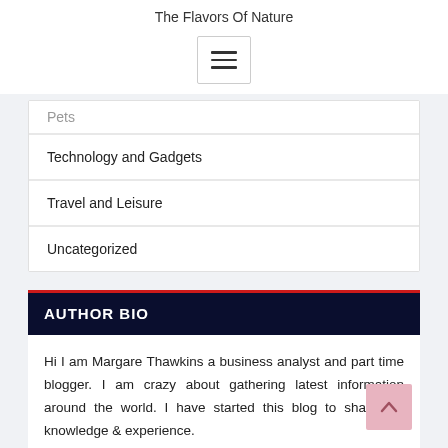The Flavors Of Nature
[Figure (other): Hamburger menu button icon with three horizontal lines]
Pets
Technology and Gadgets
Travel and Leisure
Uncategorized
AUTHOR BIO
Hi I am Margare Thawkins a business analyst and part time blogger. I am crazy about gathering latest information around the world. I have started this blog to share my knowledge & experience.